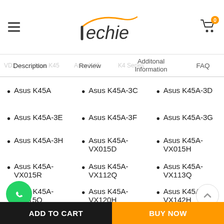Techie — navigation header with hamburger menu and cart (0 items)
Description | Review | Additonal Information | FAQ
Asus K45A
Asus K45A-3C
Asus K45A-3D
Asus K45A-3E
Asus K45A-3F
Asus K45A-3G
Asus K45A-3H
Asus K45A-VX015D
Asus K45A-VX015H
Asus K45A-VX015R
Asus K45A-VX112Q
Asus K45A-VX113Q
Asus K45A-VX115Q
Asus K45A-VX120H
Asus K45A-VX142H
ADD TO CART | BUY NOW
VX149U | VX164U | VX208D (partially visible)